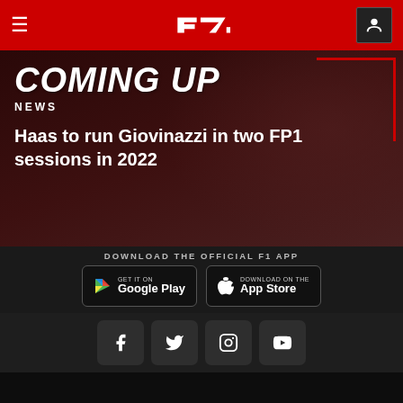[Figure (screenshot): F1 website navigation bar with hamburger menu, F1 logo, and user account icon on red background]
[Figure (screenshot): Hero section with 'COMING UP' heading, 'NEWS' label, article title 'Haas to run Giovinazzi in two FP1 sessions in 2022' on dark red background]
DOWNLOAD THE OFFICIAL F1 APP
[Figure (screenshot): Google Play and App Store download buttons]
[Figure (screenshot): Social media icons: Facebook, Twitter, Instagram, YouTube]
Our partners >
[Figure (logo): Partner logos: Rolex, Heineken, Emirates]